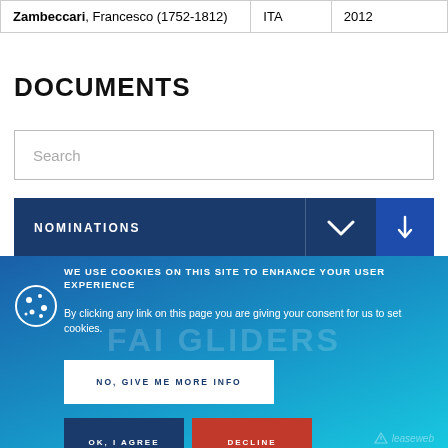|  |  |  |
| --- | --- | --- |
| Zambeccari, Francesco (1752-1812) | ITA | 2012 |
DOCUMENTS
Search
NOMINATIONS
WE USE COOKIES ON THIS SITE TO ENHANCE YOUR USER EXPERIENCE
By clicking any link on this page you are giving your consent for us to set cookies.
NO, GIVE ME MORE INFO
OK, I AGREE
DECLINE